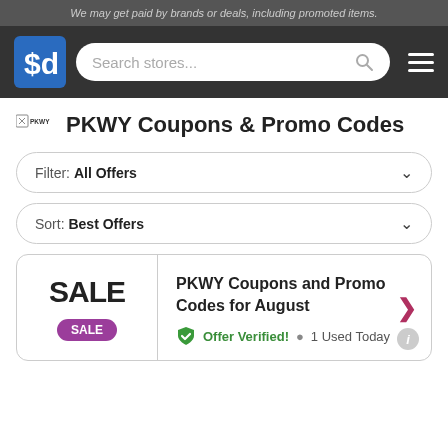We may get paid by brands or deals, including promoted items.
[Figure (logo): SaveDollar ($d) logo in blue square, search bar, hamburger menu on dark nav bar]
PKWY Coupons & Promo Codes
Filter: All Offers
Sort: Best Offers
PKWY Coupons and Promo Codes for August
Offer Verified! • 1 Used Today